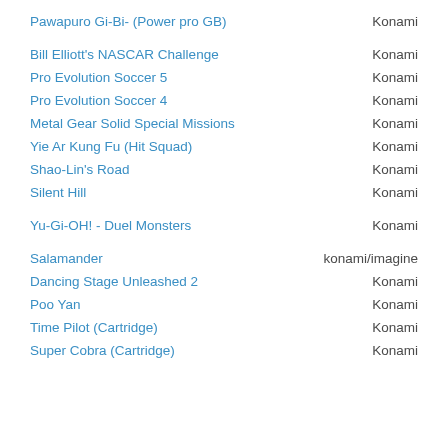Pawapuro Gi-Bi- (Power pro GB) | Konami
Bill Elliott's NASCAR Challenge | Konami
Pro Evolution Soccer 5 | Konami
Pro Evolution Soccer 4 | Konami
Metal Gear Solid Special Missions | Konami
Yie Ar Kung Fu (Hit Squad) | Konami
Shao-Lin's Road | Konami
Silent Hill | Konami
Yu-Gi-OH! - Duel Monsters | Konami
Salamander | konami/imagine
Dancing Stage Unleashed 2 | Konami
Poo Yan | Konami
Time Pilot (Cartridge) | Konami
Super Cobra (Cartridge) | Konami